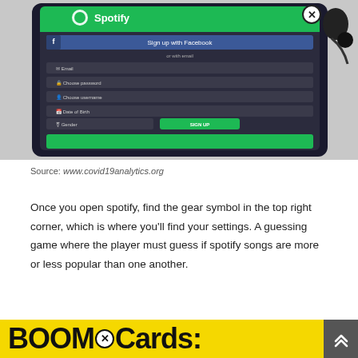[Figure (screenshot): A smartphone displaying the Spotify sign-up screen with Facebook login option, email, password, username, date of birth, and gender fields. Earphones visible in the background. A close/X button visible in top-right of the app screen.]
Source: www.covid19analytics.org
Once you open spotify, find the gear symbol in the top right corner, which is where you'll find your settings. A guessing game where the player must guess if spotify songs are more or less popular than one another.
[Figure (screenshot): A yellow banner showing partial text 'BOOM Cards:' in bold black letters with a close/X circle button. A grey button with upward double arrows on the right side.]